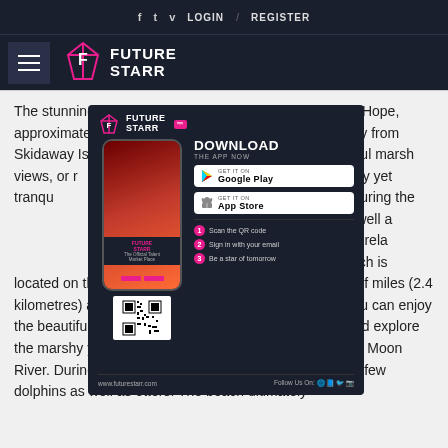f  t  v  LOGIN  /  REGISTER
[Figure (logo): Future Starr logo with hamburger menu on dark navy background]
[Figure (infographic): Future Starr app download advertisement overlay with phone mockup, Download the App Now text, Google Play and App Store buttons, 3 steps, QR code, and www.futurestarr.com URL]
The stunning Butterbean Beach is located on the Isle of Hope, approximately one and a half miles (2.4 kilometres) away from Skidaway Island. At the beach you can enjoy the beautiful marsh views, or rent a kayak or a canoe and explore the marshy yet tranquil waters of Skidaway Narrows and Moon River. During the kayaking experience, you might spot a few dolphins as well as otters. The beach ultimately offers a great opportunity to relax and appreciate the waterways.The stunning Butterbean Beach is located on the Isle of Hope, approximately one and a half miles (2.4 kilometres) away from Skidaway Island. At the beach you can enjoy the beautiful marsh views, or rent a kayak or a canoe and explore the marshy yet tranquil waters of Skidaway Narrows and Moon River. During the kayaking experience, you might spot a few dolphins as well as otters. The beach ultimately